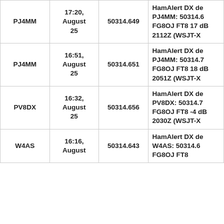| PJ4MM | 17:20, August 25 | 50314.649 | HamAlert DX de PJ4MM: 50314.6 FG8OJ FT8 17 dB 2112Z (WSJT-X |
| PJ4MM | 16:51, August 25 | 50314.651 | HamAlert DX de PJ4MM: 50314.7 FG8OJ FT8 18 dB 2051Z (WSJT-X |
| PV8DX | 16:32, August 25 | 50314.656 | HamAlert DX de PV8DX: 50314.7 FG8OJ FT8 -4 dB 2030Z (WSJT-X |
| W4AS | 16:16, August | 50314.643 | HamAlert DX de W4AS: 50314.6 FG8OJ FT8 |